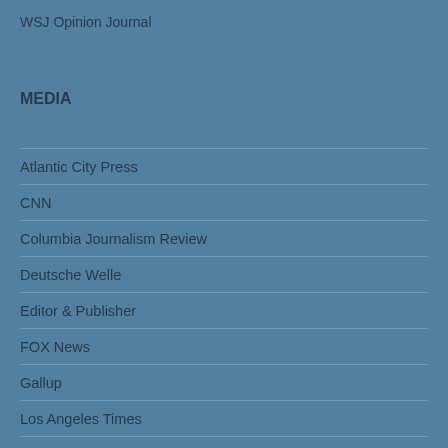WSJ Opinion Journal
MEDIA
Atlantic City Press
CNN
Columbia Journalism Review
Deutsche Welle
Editor & Publisher
FOX News
Gallup
Los Angeles Times
Media Research Center